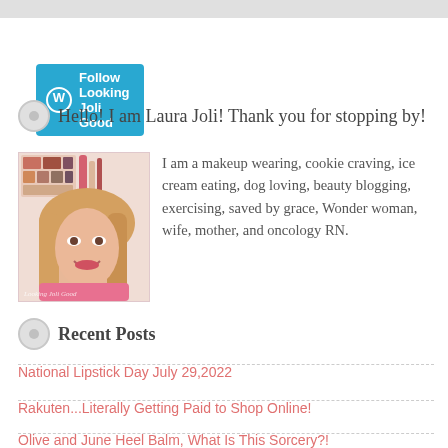[Figure (other): Gray top bar decorative element]
Follow Looking Joli Good
Hello! I am Laura Joli! Thank you for stopping by!
[Figure (photo): Photo of Laura Joli (blogger) with makeup products in background, wearing pink top, smiling, with 'Looking Joli Good' watermark]
I am a makeup wearing, cookie craving, ice cream eating, dog loving, beauty blogging, exercising, saved by grace, Wonder woman, wife, mother, and oncology RN.
Recent Posts
National Lipstick Day July 29,2022
Rakuten...Literally Getting Paid to Shop Online!
Olive and June Heel Balm, What Is This Sorcery?!